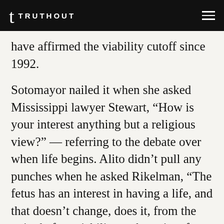t TRUTHOUT
have affirmed the viability cutoff since 1992.

Sotomayor nailed it when she asked Mississippi lawyer Stewart, “How is your interest anything but a religious view?” — referring to the debate over when life begins. Alito didn’t pull any punches when he asked Rikelman, “The fetus has an interest in having a life, and that doesn’t change, does it, from the point before viability to the point after viability?” Rikelman said that the viability cutoff “makes sense because it focuses on the fetus’s ability to survive